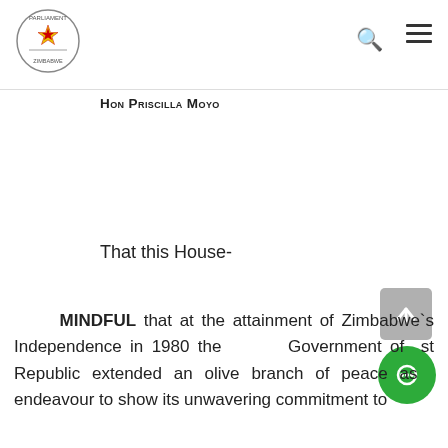Parliament of Zimbabwe header with logo, search, and menu icons
Hon Priscilla Moyo
That this House-
MINDFUL that at the attainment of Zimbabwe`s Independence in 1980 the Government of st Republic extended an olive branch of peace as endeavour to show its unwavering commitment to